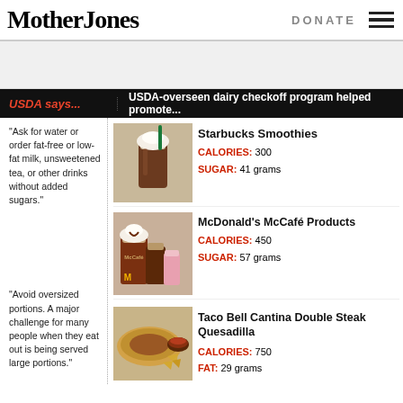Mother Jones | DONATE
[Figure (infographic): Two-column comparison infographic: Left column shows USDA dietary advice quotes; Right column shows USDA-overseen dairy checkoff program promoted fast food items with calories/sugar/fat info. Items: Starbucks Smoothies (300 cal, 41g sugar), McDonald's McCafe Products (450 cal, 57g sugar), Taco Bell Cantina Double Steak Quesadilla (750 cal, 29g fat).]
"Ask for water or order fat-free or low-fat milk, unsweetened tea, or other drinks without added sugars."
Starbucks Smoothies CALORIES: 300 SUGAR: 41 grams
McDonald's McCafé Products CALORIES: 450 SUGAR: 57 grams
"Avoid oversized portions. A major challenge for many people when they eat out is being served large portions."
Taco Bell Cantina Double Steak Quesadilla CALORIES: 750 FAT: 29 grams